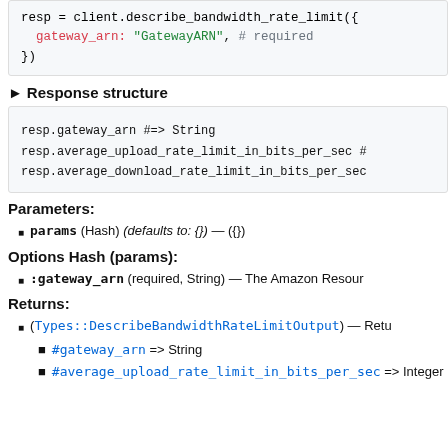resp = client.describe_bandwidth_rate_limit({
  gateway_arn: "GatewayARN", # required
})
► Response structure
resp.gateway_arn #=> String
resp.average_upload_rate_limit_in_bits_per_sec #
resp.average_download_rate_limit_in_bits_per_sec
Parameters:
params (Hash) (defaults to: {}) — ({})
Options Hash (params):
:gateway_arn (required, String) — The Amazon Resour
Returns:
(Types::DescribeBandwidthRateLimitOutput) — Retu
#gateway_arn => String
#average_upload_rate_limit_in_bits_per_sec => Integer